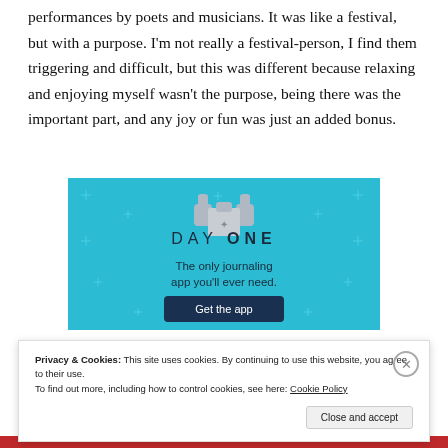performances by poets and musicians. It was like a festival, but with a purpose. I'm not really a festival-person, I find them triggering and difficult, but this was different because relaxing and enjoying myself wasn't the purpose, being there was the important part, and any joy or fun was just an added bonus.
[Figure (illustration): Advertisement for Day One journaling app. Blue background with small star/cross decorations, an illustration of hands holding a puzzle piece at top, then 'DAY ONE' text in spaced lettering, tagline 'The only journaling app you'll ever need.', and a dark 'Get the app' button.]
Privacy & Cookies: This site uses cookies. By continuing to use this website, you agree to their use.
To find out more, including how to control cookies, see here: Cookie Policy
Close and accept